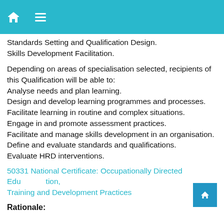Navigation header with home and menu icons
Standards Setting and Qualification Design.
Skills Development Facilitation.
Depending on areas of specialisation selected, recipients of this Qualification will be able to:
Analyse needs and plan learning.
Design and develop learning programmes and processes.
Facilitate learning in routine and complex situations.
Engage in and promote assessment practices.
Facilitate and manage skills development in an organisation.
Define and evaluate standards and qualifications.
Evaluate HRD interventions.
50331 National Certificate: Occupationally Directed Education, Training and Development Practices
Rationale: